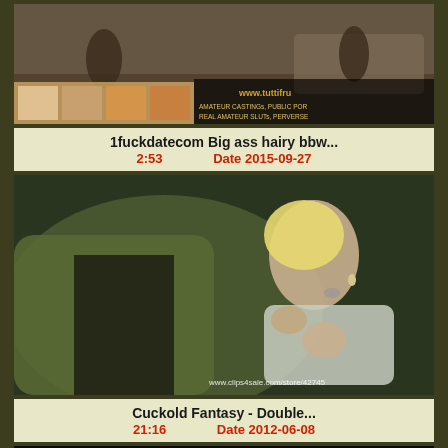[Figure (photo): Video thumbnail showing people on a couch, with tuttifrutti branding and text: AMATEUR CASTINGs, PUBLIC POR, REAL AMATEUR SLUTs, PERVERSE]
1fuckdatecom Big ass hairy bbw...
2:53    Date 2015-09-27
[Figure (photo): Video thumbnail of a blonde woman, with watermark www.clips4sale.com/store/42745]
Cuckold Fantasy - Double...
21:16    Date 2012-06-08
[Figure (photo): Partial video thumbnail, mostly black at top with content beginning to show]